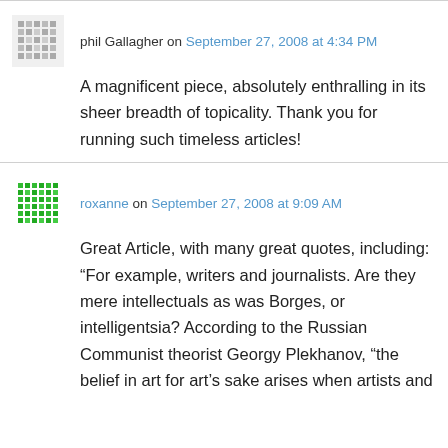phil Gallagher on September 27, 2008 at 4:34 PM
A magnificent piece, absolutely enthralling in its sheer breadth of topicality. Thank you for running such timeless articles!
roxanne on September 27, 2008 at 9:09 AM
Great Article, with many great quotes, including: “For example, writers and journalists. Are they mere intellectuals as was Borges, or intelligentsia? According to the Russian Communist theorist Georgy Plekhanov, “the belief in art for art’s sake arises when artists and